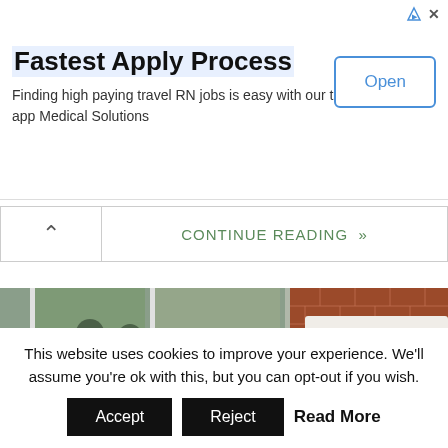Fastest Apply Process
Finding high paying travel RN jobs is easy with our traveler app Medical Solutions
CONTINUE READING »
[Figure (photo): Exterior view of a police department building. Left side shows large windows reflecting people and outdoor scene. Right side shows a red brick wall with a sign reading 'Police D' (partially visible).]
This website uses cookies to improve your experience. We'll assume you're ok with this, but you can opt-out if you wish.
Accept   Reject   Read More